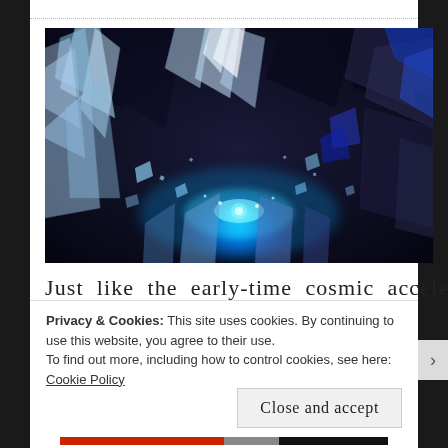[Figure (illustration): Blue and white crystalline explosion or shattering ice/glass effect with electric blue glowing center, surrounded by sharp jagged crystal shards in blue, white, and dark tones, with a dark background.]
Just like the early-time cosmic acceleration
Privacy & Cookies: This site uses cookies. By continuing to use this website, you agree to their use.
To find out more, including how to control cookies, see here: Cookie Policy
Close and accept